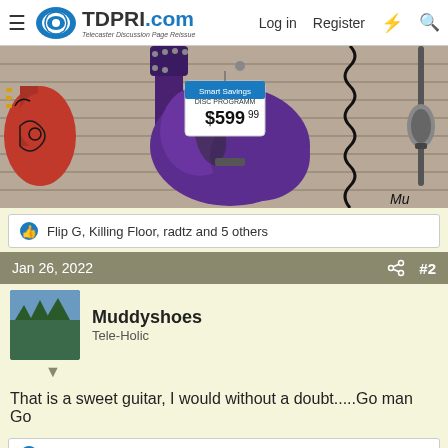TDPRI.com - Telecaster Discussion Page Reissue | Log in | Register
[Figure (photo): Photo of guitars hanging on a wall in a music store. A purple electric guitar is prominently shown with a price tag reading Smart Savings $599.99. A red guitar with decorative art is partially visible on the left. A microphone stands on the right.]
Flip G, Killing Floor, radtz and 5 others
Jan 26, 2022  #2
Muddyshoes
Tele-Holic
That is a sweet guitar, I would without a doubt.....Go man Go
Killing Floor and radtz